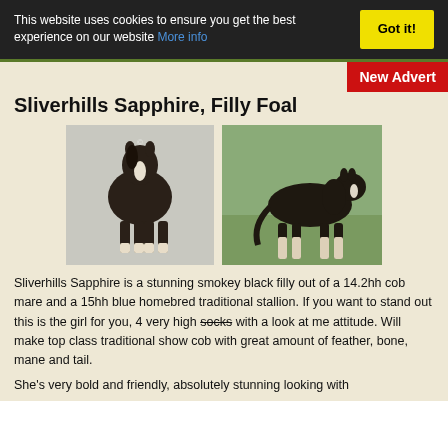This website uses cookies to ensure you get the best experience on our website More info | Got it!
New Advert
Sliverhills Sapphire, Filly Foal
[Figure (photo): Two photos of Sliverhills Sapphire, a dark smokey black filly foal. Left photo shows the foal facing camera with white blaze, right photo shows the foal standing side-on in a green field.]
Sliverhills Sapphire is a stunning smokey black filly out of a 14.2hh cob mare and a 15hh blue homebred traditional stallion. If you want to stand out this is the girl for you, 4 very high socks with a look at me attitude. Will make top class traditional show cob with great amount of feather, bone, mane and tail.
She's very bold and friendly, absolutely stunning looking with